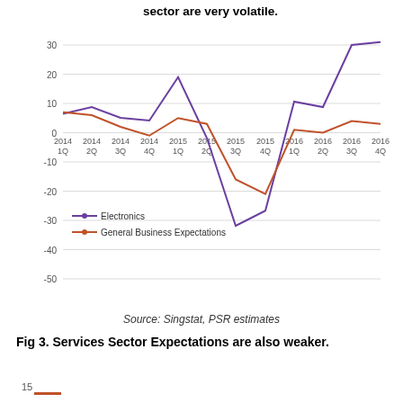sector are very volatile.
[Figure (line-chart): Electronics vs General Business Expectations]
Source: Singstat, PSR estimates
Fig 3. Services Sector Expectations are also weaker.